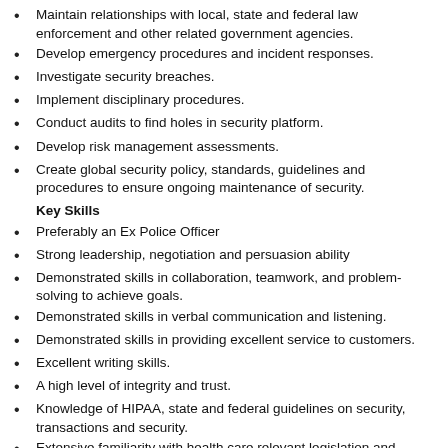Maintain relationships with local, state and federal law enforcement and other related government agencies.
Develop emergency procedures and incident responses.
Investigate security breaches.
Implement disciplinary procedures.
Conduct audits to find holes in security platform.
Develop risk management assessments.
Create global security policy, standards, guidelines and procedures to ensure ongoing maintenance of security.
Key Skills
Preferably an Ex Police Officer
Strong leadership, negotiation and persuasion ability
Demonstrated skills in collaboration, teamwork, and problem-solving to achieve goals.
Demonstrated skills in verbal communication and listening.
Demonstrated skills in providing excellent service to customers.
Excellent writing skills.
A high level of integrity and trust.
Knowledge of HIPAA, state and federal guidelines on security, transactions and security.
Extensive familiarity with health care relevant legislation and standards for the protection of health information and patient security.
Job Title: Cost Accountant